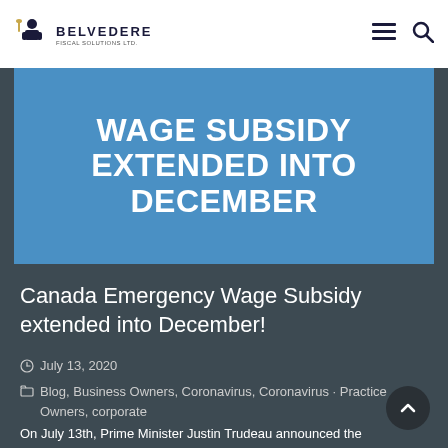BELVEDERE
[Figure (other): Blue banner hero image with bold white text reading WAGE SUBSIDY EXTENDED INTO DECEMBER]
Canada Emergency Wage Subsidy extended into December!
July 13, 2020
Blog, Business Owners, Coronavirus, Coronavirus - Practice Owners, corporate
On July 13th, Prime Minister Justin Trudeau announced the extension of the Canada Emergency Wage Subsidy (CEWS) until December.